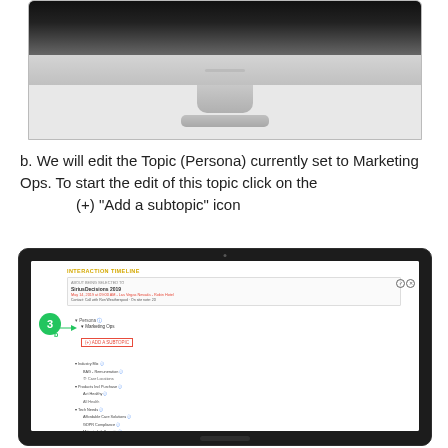[Figure (screenshot): Top portion of a desktop monitor showing a Mac-style display with silver stand and base, partially cropped]
b. We will edit the Topic (Persona) currently set to Marketing Ops. To start the edit of this topic click on the
      (+) "Add a subtopic" icon
[Figure (screenshot): Screenshot of Interaction Timeline interface inside a laptop frame. Shows a circled number 3 badge and letter b annotation pointing to an expanded topic tree with 'Persona', 'Marketing Ops', and a red-bordered '(+) ADD A SUBTOPIC' button highlighted.]